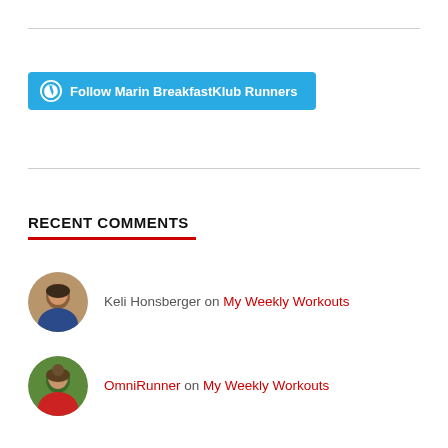Follow Marin BreakfastKlub Runners
RECENT COMMENTS
Keli Honsberger on My Weekly Workouts
OmniRunner on My Weekly Workouts
Keli Honsberger on Week 2 Training – A Grea…
Cindy DeLong on Week 2 Training – A Grea…